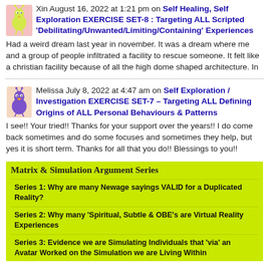Xin August 16, 2022 at 1:21 pm on Self Healing, Self Exploration EXERCISE SET-8 : Targeting ALL Scripted 'Debilitating/Unwanted/Limiting/Containing' Experiences
Had a weird dream last year in november. It was a dream where me and a group of people infiltrated a facility to rescue someone. It felt like a christian facility because of all the high dome shaped architecture. In
Melissa July 8, 2022 at 4:47 am on Self Exploration / Investigation EXERCISE SET-7 – Targeting ALL Defining Origins of ALL Personal Behaviours & Patterns
I see!! Your tried!! Thanks for your support over the years!! I do come back sometimes and do some focuses and sometimes they help, but yes it is short term. Thanks for all that you do!! Blessings to you!!
Matrix & Simulation Argument Series
Series 1: Why are many Newage sayings VALID for a Duplicated Reality?
Series 2: Why many 'Spiritual, Subtle & OBE's are Virtual Reality Experiences
Series 3: Evidence we are Simulating Individuals that 'via' an Avatar Worked on the Simulation we are Living Within